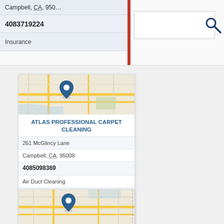Campbell, CA, 950…
4083719224
Insurance
[Figure (map): Street map showing location pin for Atlas Professional Carpet Cleaning in Campbell, CA area]
ATLAS PROFESSIONAL CARPET CLEANING
261 McGlincy Lane
Campbell, CA, 95008
4085098369
Air Duct Cleaning
Carpet Cleaning
Carpet Rug Cleaners
Dryer Vent Cleaning
[Figure (map): Street map showing location pin for Atwell Anthony E MD]
ATWELL ANTHONY E MD